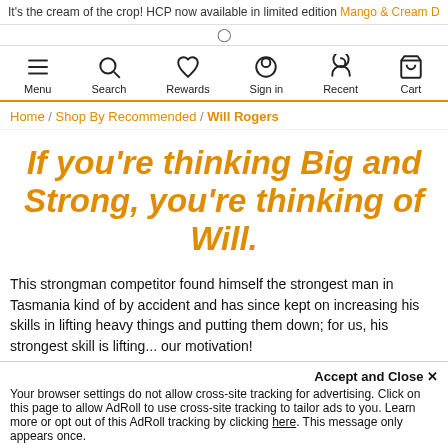It's the cream of the crop! HCP now available in limited edition Mango & Cream D
Menu | Search | Rewards | Sign in | Recent | Cart
Home / Shop By Recommended / Will Rogers
If you're thinking Big and Strong, you're thinking of Will.
This strongman competitor found himself the strongest man in Tasmania kind of by accident and has since kept on increasing his skills in lifting heavy things and putting them down; for us, his strongest skill is lifting... our motivation!
Accept and Close ×
Your browser settings do not allow cross-site tracking for advertising. Click on this page to allow AdRoll to use cross-site tracking to tailor ads to you. Learn more or opt out of this AdRoll tracking by clicking here. This message only appears once.